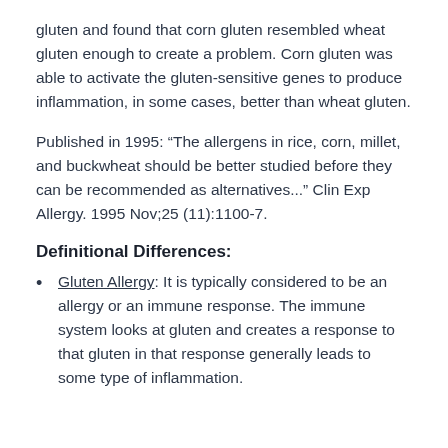gluten and found that corn gluten resembled wheat gluten enough to create a problem. Corn gluten was able to activate the gluten-sensitive genes to produce inflammation, in some cases, better than wheat gluten.
Published in 1995: “The allergens in rice, corn, millet, and buckwheat should be better studied before they can be recommended as alternatives...” Clin Exp Allergy. 1995 Nov;25 (11):1100-7.
Definitional Differences:
Gluten Allergy: It is typically considered to be an allergy or an immune response. The immune system looks at gluten and creates a response to that gluten in that response generally leads to some type of inflammation.